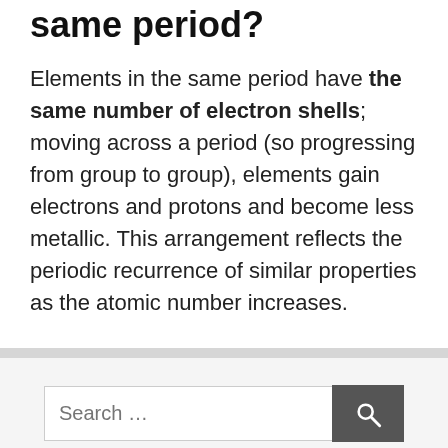same period?
Elements in the same period have the same number of electron shells; moving across a period (so progressing from group to group), elements gain electrons and protons and become less metallic. This arrangement reflects the periodic recurrence of similar properties as the atomic number increases.
Watersports